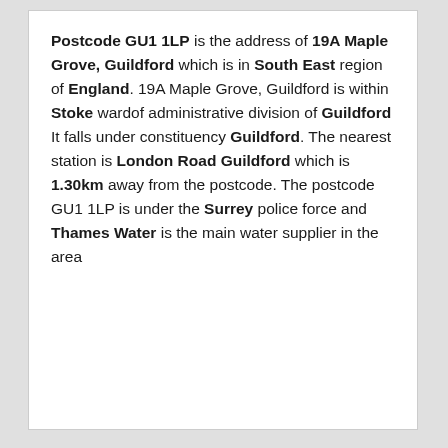Postcode GU1 1LP is the address of 19A Maple Grove, Guildford which is in South East region of England. 19A Maple Grove, Guildford is within Stoke wardof administrative division of Guildford It falls under constituency Guildford. The nearest station is London Road Guildford which is 1.30km away from the postcode. The postcode GU1 1LP is under the Surrey police force and Thames Water is the main water supplier in the area